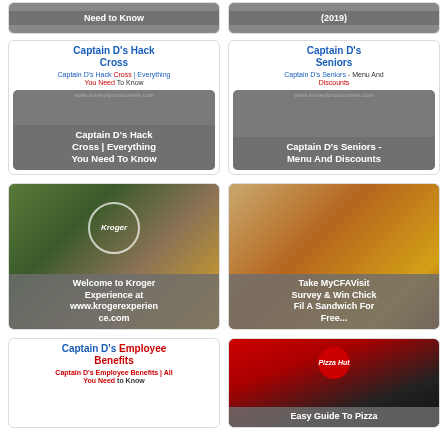[Figure (screenshot): Partial top row cards clipped at top of page, showing 'Need to Know' and '(2019)' overlays]
[Figure (screenshot): Card: Captain D's Hack Cross - image with overlay text 'Captain D's Hack Cross | Everything You Need To Know']
[Figure (screenshot): Card: Captain D's Seniors - image with overlay text 'Captain D's Seniors - Menu And Discounts']
[Figure (screenshot): Card: Welcome to Kroger Experience at www.krogerexperience.com - food background image]
[Figure (screenshot): Card: Take MyCFAVisit Survey & Win Chick Fil A Sandwich For Free... - Chick-fil-A food background]
[Figure (screenshot): Card: Captain D's Employee Benefits - Captain D's Employee Benefits | All You Need to Know]
[Figure (screenshot): Card: Easy Guide To Pizza Hut - Pizza Hut logo and background]